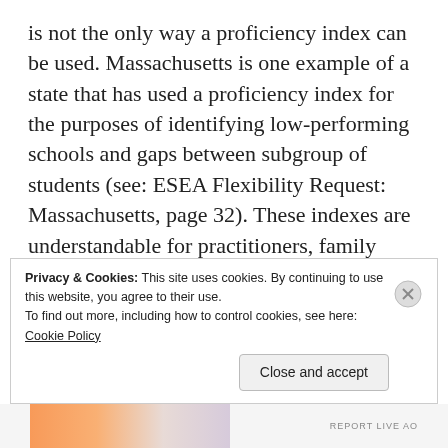is not the only way a proficiency index can be used. Massachusetts is one example of a state that has used a proficiency index for the purposes of identifying low-performing schools and gaps between subgroup of students (see: ESEA Flexibility Request: Massachusetts, page 32). These indexes are understandable for practitioners, family members, and administrators while also providing additional information regarding the performance of students who are not grade-level proficient.
Privacy & Cookies: This site uses cookies. By continuing to use this website, you agree to their use. To find out more, including how to control cookies, see here: Cookie Policy [Close and accept button]